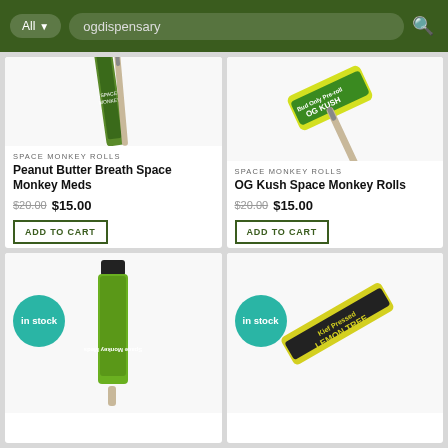All  ogdispensary
[Figure (photo): Space Monkey Rolls Peanut Butter Breath pre-roll product image — green labeled tube with pre-roll joint]
SPACE MONKEY ROLLS
Peanut Butter Breath Space Monkey Meds
$20.00  $15.00
ADD TO CART
[Figure (photo): Space Monkey Rolls OG Kush pre-roll — yellow and green labeled tube with Bud Only Pre-roll OG Kush branding, pre-roll joint beside it]
SPACE MONKEY ROLLS
OG Kush Space Monkey Rolls
$20.00  $15.00
ADD TO CART
[Figure (photo): In stock — Space Monkey Meds pre-roll in green tube with pre-roll joint beside it, in stock teal badge]
[Figure (photo): In stock — Lemon Tree Kief Pressed pre-roll in yellow/black tube, in stock teal badge]